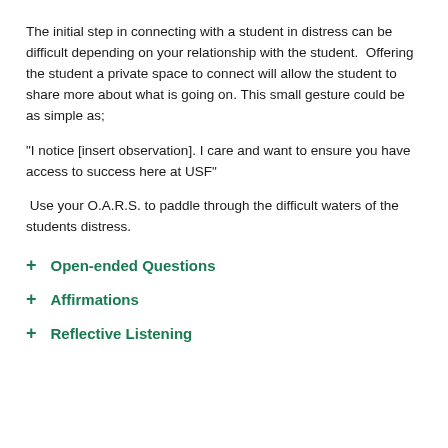The initial step in connecting with a student in distress can be difficult depending on your relationship with the student.  Offering the student a private space to connect will allow the student to share more about what is going on. This small gesture could be as simple as;
"I notice [insert observation]. I care and want to ensure you have access to success here at USF"
Use your O.A.R.S. to paddle through the difficult waters of the students distress.
+ Open-ended Questions
+ Affirmations
+ Reflective Listening